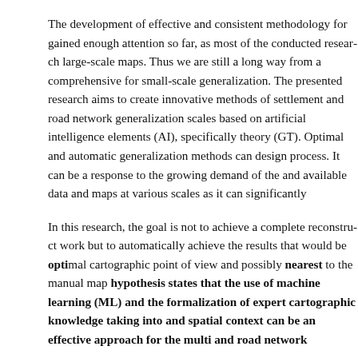The development of effective and consistent methodology for g... gained enough attention so far, as most of the conducted resear... large-scale maps. Thus we are still a long way from a comprehe... for small-scale generalization. The presented research aims to c... innovative methods of settlement and road network generalizati... scales based on artificial intelligence elements (AI), specificall... theory (GT). Optimal and automatic generalization methods car... design process. It can be a response to the growing demand of t... and available data and maps at various scales as it can significan...
In this research, the goal is not to achieve a complete reconstru... work but to automatically achieve the results that would be optimal from a cartographic point of view and possibly nearest to the manual m... hypothesis states that the use of machine learning (ML) and the formalization of expert cartographic knowledge taking i... and spatial context can be an effective approach for the mul... and road network generalization methodology development.